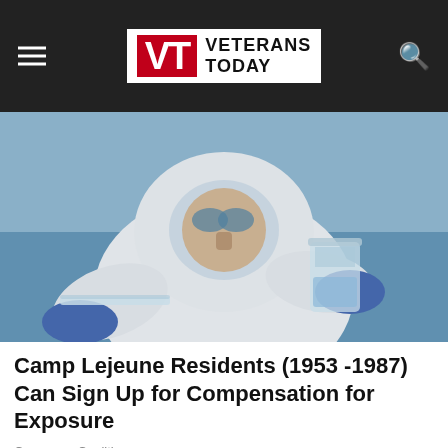VT VETERANS TODAY
[Figure (photo): Person in white hazmat/protective suit and blue gloves holding a glass beaker with water, near a lake or body of water outdoors]
Camp Lejeune Residents (1953 -1987) Can Sign Up for Compensation for Exposure
Consumer Coalition
[Figure (photo): Close-up of hands with reddish/inflamed skin, possibly showing a medical condition, resting on a yellow surface]